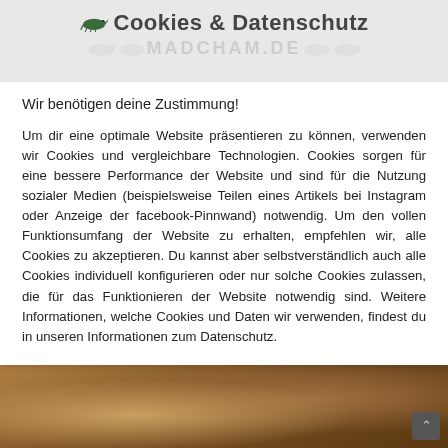Cookies & Datenschutz
Wir benötigen deine Zustimmung!
Um dir eine optimale Website präsentieren zu können, verwenden wir Cookies und vergleichbare Technologien. Cookies sorgen für eine bessere Performance der Website und sind für die Nutzung sozialer Medien (beispielsweise Teilen eines Artikels bei Instagram oder Anzeige der facebook-Pinnwand) notwendig. Um den vollen Funktionsumfang der Website zu erhalten, empfehlen wir, alle Cookies zu akzeptieren. Du kannst aber selbstverständlich auch alle Cookies individuell konfigurieren oder nur solche Cookies zulassen, die für das Funktionieren der Website notwendig sind. Weitere Informationen, welche Cookies und Daten wir verwenden, findest du in unseren Informationen zum Datenschutz.
[Figure (photo): Close-up photo of a chameleon on a branch, brownish-golden tones]